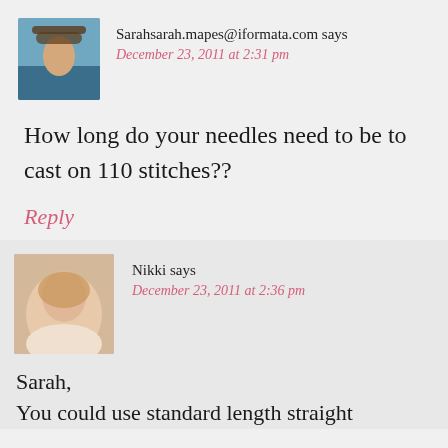Sarahsarah.mapes@iformata.com says
December 23, 2011 at 2:31 pm
How long do your needles need to be to cast on 110 stitches??
Reply
Nikki says
December 23, 2011 at 2:36 pm
Sarah,
You could use standard length straight